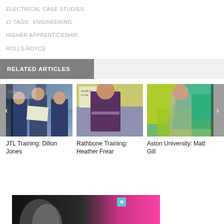ELECTRICAL CASE STUDIES
TAGS: ENGINEERING, HIGHER APPRENTICESHIP, ROLLS-ROYCE
RELATED ARTICLES
[Figure (photo): Three men in suits, one holding a certificate, at a formal event with a banner in the background.]
JTL Training: Dillon Jones
[Figure (photo): A woman standing in front of a classroom alphabet display board.]
Rathbone Training: Heather Frear
[Figure (photo): A young man standing in front of a colourful geometric wall mural.]
Aston University: Matt Gill
[Figure (photo): Bottom of page advertisement banner showing a partial face in black and white with pink/purple elements.]